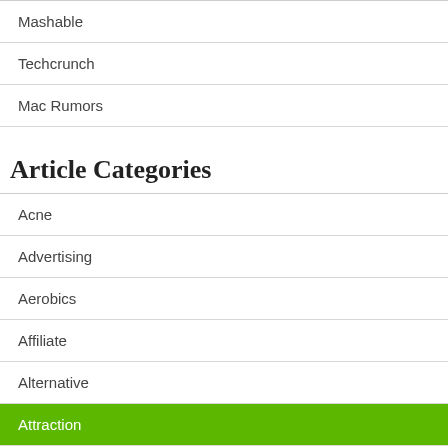Mashable
Techcrunch
Mac Rumors
Article Categories
Acne
Advertising
Aerobics
Affiliate
Alternative
Attraction
Auctions
Audio